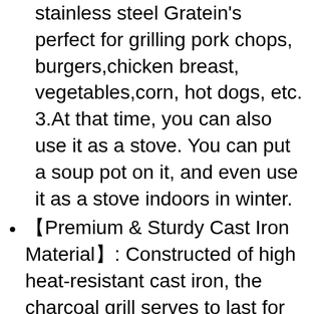stainless steel Gratein's perfect for grilling pork chops, burgers,chicken breast, vegetables,corn, hot dogs, etc. 3.At that time, you can also use it as a stove. You can put a soup pot on it, and even use it as a stove indoors in winter.
【Premium & Sturdy Cast Iron Material】: Constructed of high heat-resistant cast iron, the charcoal grill serves to last for years. In addition, cast iron comes with excellent heat preservation and thermal conductivity, which effectively maintains the most original taste of food.
【Easy Assembly and Easy To Clean 】: This charcoal BBQ grills can be folded up and torn down in an instant .Convenience to take it to anywhere to have fun. steel cooking grate retains heat and is easy to clean.
【Better Portability】: 13.78*13.78*4.72inch. The small grill allows you to easily carry it when